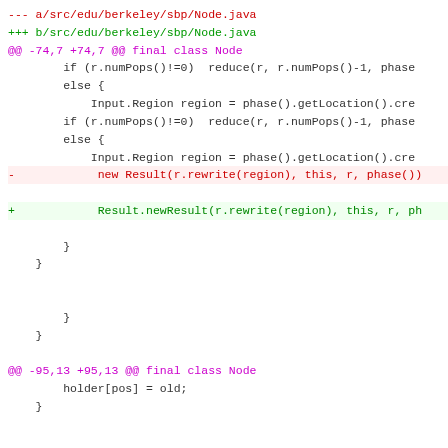[Figure (screenshot): A unified diff view of Node.java showing two hunks. The first hunk shows a change from 'new Result(r.rewrite(region), this, r, phase())' to 'Result.newResult(r.rewrite(region), this, r, ph'. The second hunk at -95,13 +95,13 shows changes to the Node constructor parameter from 'result' to 'pred'.]